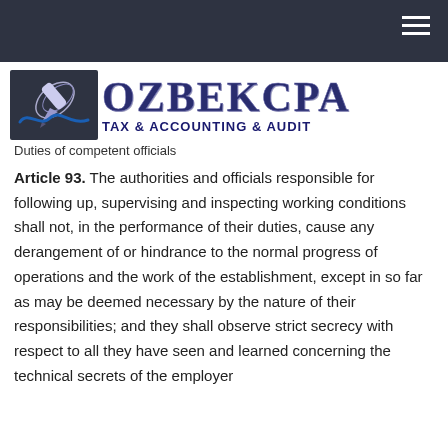OZBEKCPA TAX & ACCOUNTING & AUDIT
Duties of competent officials
Article 93. The authorities and officials responsible for following up, supervising and inspecting working conditions shall not, in the performance of their duties, cause any derangement of or hindrance to the normal progress of operations and the work of the establishment, except in so far as may be deemed necessary by the nature of their responsibilities; and they shall observe strict secrecy with respect to all they have seen and learned concerning the technical secrets of the employer